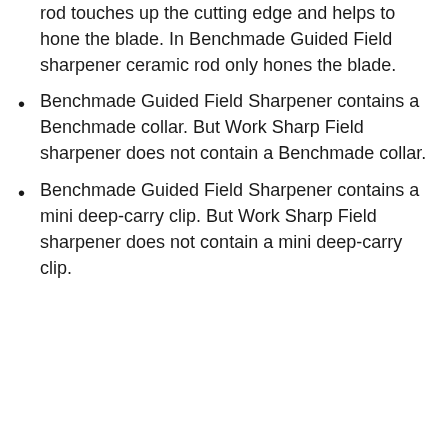rod touches up the cutting edge and helps to hone the blade. In Benchmade Guided Field sharpener ceramic rod only hones the blade.
Benchmade Guided Field Sharpener contains a Benchmade collar. But Work Sharp Field sharpener does not contain a Benchmade collar.
Benchmade Guided Field Sharpener contains a mini deep-carry clip. But Work Sharp Field sharpener does not contain a mini deep-carry clip.